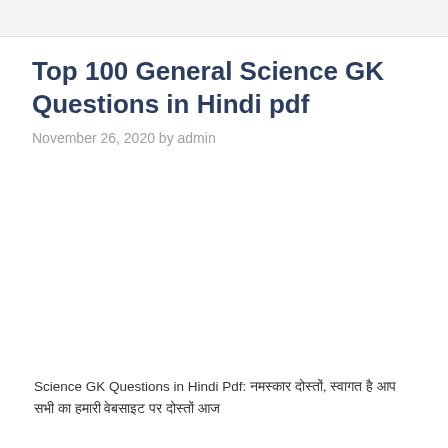Top 100 General Science GK Questions in Hindi pdf
November 26, 2020 by admin
Science GK Questions in Hindi Pdf: नमस्कार दोस्तों, स्वागत है आप सभी का हमारी वेबसाइट पर दोस्तों आज